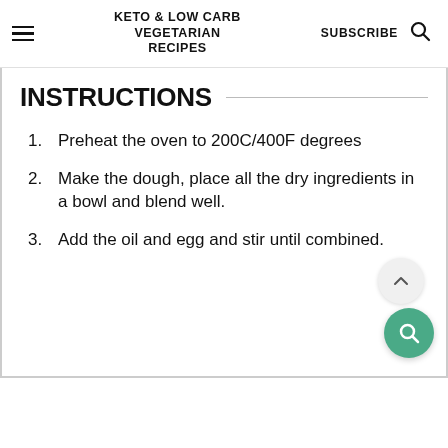KETO & LOW CARB VEGETARIAN RECIPES | SUBSCRIBE
INSTRUCTIONS
Preheat the oven to 200C/400F degrees
Make the dough, place all the dry ingredients in a bowl and blend well.
Add the oil and egg and stir until combined.